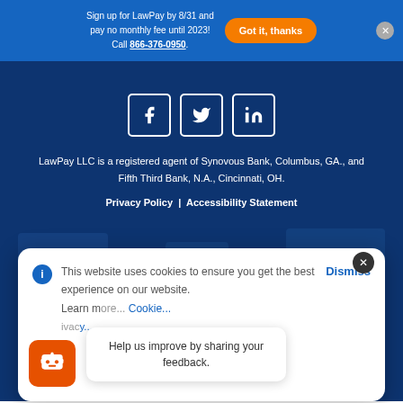Sign up for LawPay by 8/31 and pay no monthly fee until 2023! Call 866-376-0950.
Got it, thanks
[Figure (illustration): Social media icons: Facebook, Twitter, LinkedIn in white square rounded outlines]
LawPay LLC is a registered agent of Synovous Bank, Columbus, GA., and Fifth Third Bank, N.A., Cincinnati, OH.
Privacy Policy | Accessibility Statement
This website uses cookies to ensure you get the best experience on our website. Learn more... Cookie... Privacy...
Dismiss
Help us improve by sharing your feedback.